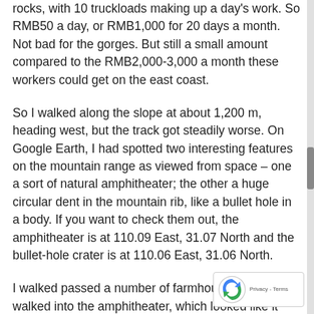rocks, with 10 truckloads making up a day's work. So RMB50 a day, or RMB1,000 for 20 days a month. Not bad for the gorges. But still a small amount compared to the RMB2,000-3,000 a month these workers could get on the east coast.
So I walked along the slope at about 1,200 m, heading west, but the track got steadily worse. On Google Earth, I had spotted two interesting features on the mountain range as viewed from space – one a sort of natural amphitheater; the other a huge circular dent in the mountain rib, like a bullet hole in a body. If you want to check them out, the amphitheater is at 110.09 East, 31.07 North and the bullet-hole crater is at 110.06 East, 31.06 North.
I walked passed a number of farmhouses and walked into the amphitheater, which looked like it had been crated by glacial action. The bullet hole crater, six kilometers in diameter and going from 1,600 meters the rim to 250 meters at the center of the depression,